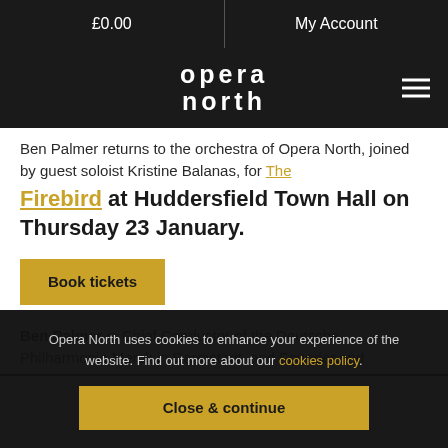£0.00  |  My Account
[Figure (logo): Opera North logo in white text on dark background, with hamburger menu icon on right]
Ben Palmer returns to the orchestra of Opera North, joined by guest soloist Kristine Balanas, for The Firebird at Huddersfield Town Hall on Thursday 23 January.
Book tickets
Ben Palmer is Chief Conductor of the Deutsche Philharmonie Merck in Darmstadt, and Founder and
Opera North uses cookies to enhance your experience of the website. Find out more about our cookies policy.
Close & continue